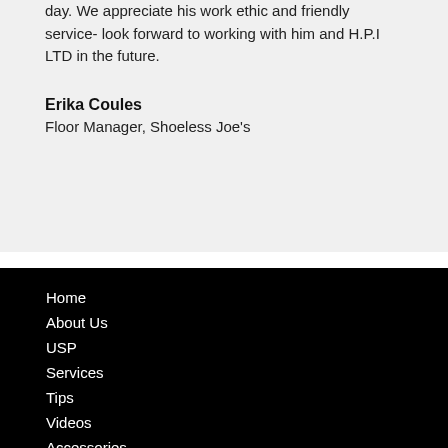day. We appreciate his work ethic and friendly service- look forward to working with him and H.P.I LTD in the future.
Erika Coules
Floor Manager, Shoeless Joe's
Home
About Us
USP
Services
Tips
Videos
Accessories